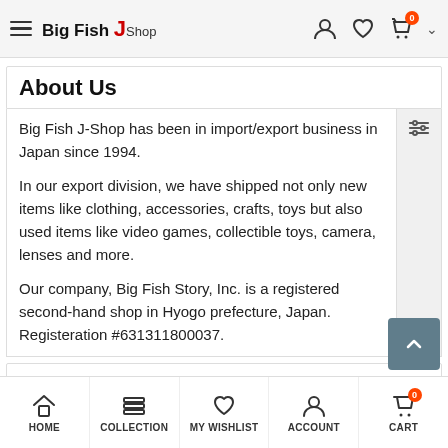Big Fish J-Shop
About Us
Big Fish J-Shop has been in import/export business in Japan since 1994.
In our export division, we have shipped not only new items like clothing, accessories, crafts, toys but also used items like video games, collectible toys, camera, lenses and more.
Our company, Big Fish Story, Inc. is a registered second-hand shop in Hyogo prefecture, Japan. Registeration #631311800037.
International Buyers - Please Note:
Import restrictions are all buyer's responsibility.
HOME  COLLECTION  MY WISHLIST  ACCOUNT  CART